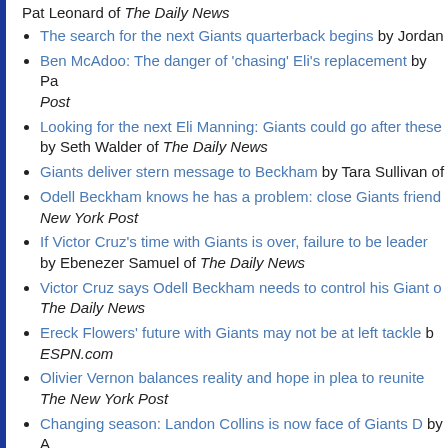Pat Leonard of The Daily News
The search for the next Giants quarterback begins by Jordan
Ben McAdoo: The danger of 'chasing' Eli's replacement by Pa Post
Looking for the next Eli Manning: Giants could go after these by Seth Walder of The Daily News
Giants deliver stern message to Beckham by Tara Sullivan of
Odell Beckham knows he has a problem: close Giants friend New York Post
If Victor Cruz's time with Giants is over, failure to be leader by Ebenezer Samuel of The Daily News
Victor Cruz says Odell Beckham needs to control his Giant o The Daily News
Ereck Flowers' future with Giants may not be at left tackle b ESPN.com
Olivier Vernon balances reality and hope in plea to reunite The New York Post
Changing season: Landon Collins is now face of Giants D by A Record
Giants' Nat Berhe dealing with uncertainty after concussion-